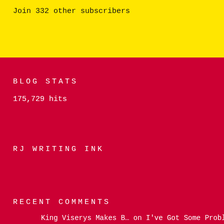Join 332 other subscribers
BLOG STATS
175,729 hits
RJ WRITING INK
RECENT COMMENTS
King Viserys Makes B… on I've Got Some Problems